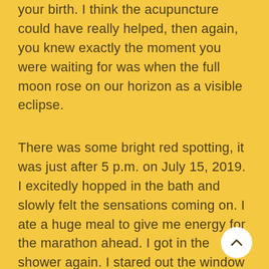your birth. I think the acupuncture could have really helped, then again, you knew exactly the moment you were waiting for was when the full moon rose on our horizon as a visible eclipse.
There was some bright red spotting, it was just after 5 p.m. on July 15, 2019. I excitedly hopped in the bath and slowly felt the sensations coming on. I ate a huge meal to give me energy for the marathon ahead. I got in the shower again. I stared out the window at the beautiful moon. I had patience and we waited for your arrival. Our whole family had